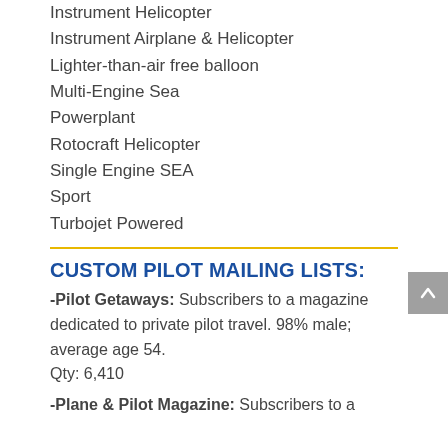Instrument Helicopter
Instrument Airplane & Helicopter
Lighter-than-air free balloon
Multi-Engine Sea
Powerplant
Rotocraft Helicopter
Single Engine SEA
Sport
Turbojet Powered
CUSTOM PILOT MAILING LISTS:
-Pilot Getaways: Subscribers to a magazine dedicated to private pilot travel. 98% male; average age 54.
Qty: 6,410
-Plane & Pilot Magazine: Subscribers to a